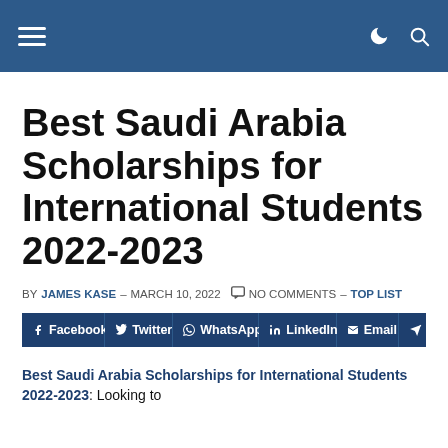Navigation header with hamburger menu and dark/search icons
Best Saudi Arabia Scholarships for International Students 2022-2023
BY JAMES KASE – MARCH 10, 2022  NO COMMENTS – TOP LIST
[Figure (infographic): Social share buttons row: Facebook, Twitter, WhatsApp, LinkedIn, Email, and one more partially visible]
Best Saudi Arabia Scholarships for International Students 2022-2023: Looking to